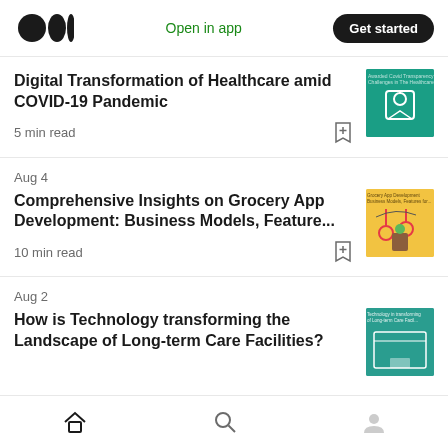Medium logo | Open in app | Get started
Digital Transformation of Healthcare amid COVID-19 Pandemic
5 min read
Aug 4
Comprehensive Insights on Grocery App Development: Business Models, Feature...
10 min read
Aug 2
How is Technology transforming the Landscape of Long-term Care Facilities?
Home | Search | Profile